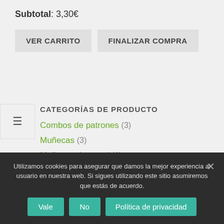Subtotal: 3,30€
VER CARRITO | FINALIZAR COMPRA
CATEGORÍAS DE PRODUCTO
Combos de patrones (3)
Muñecas (3)
Muñecas de papel (1)
Patrones (20)
Utilizamos cookies para asegurar que damos la mejor experiencia al usuario en nuestra web. Si sigues utilizando este sitio asumiremos que estás de acuerdo.
Vale | No | Política de privacidad